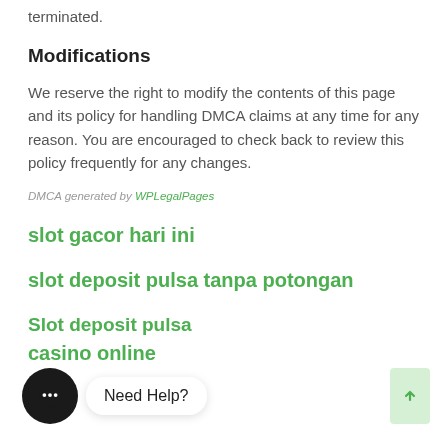terminated.
Modifications
We reserve the right to modify the contents of this page and its policy for handling DMCA claims at any time for any reason. You are encouraged to check back to review this policy frequently for any changes.
DMCA generated by WPLegalPages
slot gacor hari ini
slot deposit pulsa tanpa potongan
Slot deposit pulsa
casino online